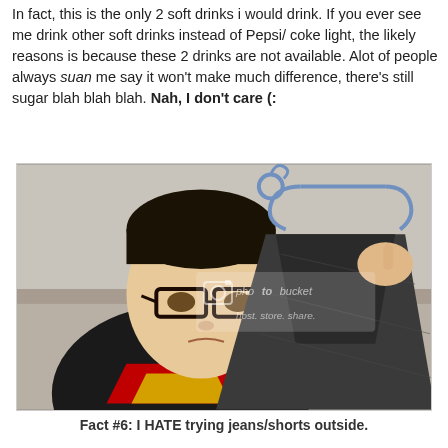In fact, this is the only 2 soft drinks i would drink. If you ever see me drink other soft drinks instead of Pepsi/ coke light, the likely reasons is because these 2 drinks are not available. Alot of people always suan me say it won't make much difference, there's still sugar blah blah blah. Nah, I don't care (:
[Figure (photo): A young Asian man wearing glasses and a Superman t-shirt holds up a dark gray pair of jeans/shorts on a blue plastic hanger and examines them. A Photobucket watermark reads 'host. store. share.' is overlaid on the image.]
Fact #6: I HATE trying jeans/shorts outside.